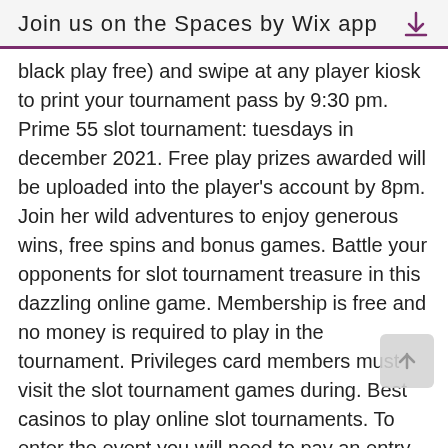Join us on the Spaces by Wix app
black play free) and swipe at any player kiosk to print your tournament pass by 9:30 pm. Prime 55 slot tournament: tuesdays in december 2021. Free play prizes awarded will be uploaded into the player's account by 8pm. Join her wild adventures to enjoy generous wins, free spins and bonus games. Battle your opponents for slot tournament treasure in this dazzling online game. Membership is free and no money is required to play in the tournament. Privileges card members must visit the slot tournament games during. Best casinos to play online slot tournaments. To enter the event you will need to pay an entry fee; unless it's a free slot tournament of course Click the &quot;opt-in&quot; button on the tournament to enter; play the selected slot with your tournament spins; win as much as you can and score points. Head to liberty slots casino